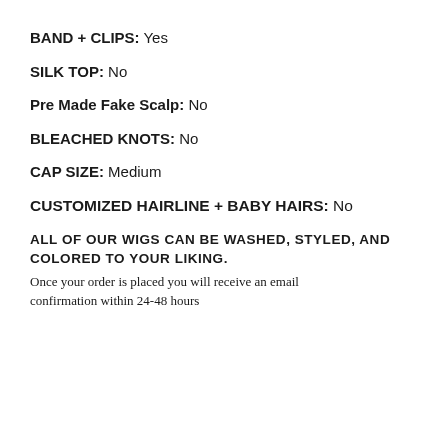BAND + CLIPS: Yes
SILK TOP: No
Pre Made Fake Scalp: No
BLEACHED KNOTS: No
CAP SIZE: Medium
CUSTOMIZED HAIRLINE + BABY HAIRS: No
ALL OF OUR WIGS CAN BE WASHED, STYLED, AND COLORED TO YOUR LIKING.
Once your order is placed you will receive an email confirmation within 24-48 hours